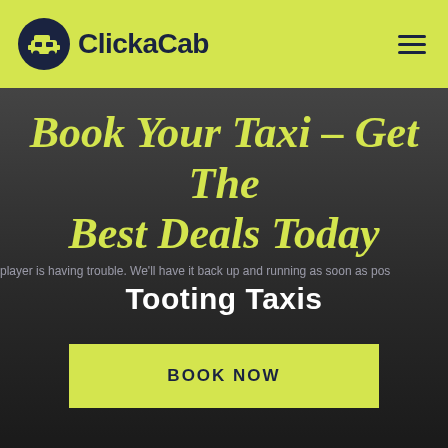ClickaCab
Book Your Taxi – Get The Best Deals Today
Player error: player is having trouble. We'll have it back up and running as soon as pos
Tooting Taxis
BOOK NOW